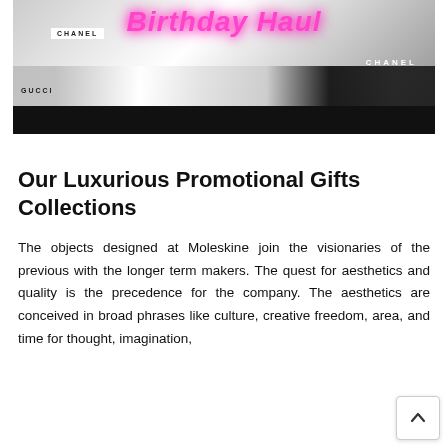[Figure (photo): A thumbnail image showing a 'Birthday Haul' video/post with neon pink script text reading 'Birthday Haul', a woman surrounded by luxury brand bags including Chanel and Gucci items on a dark background.]
Our Luxurious Promotional Gifts Collections
The objects designed at Moleskine join the visionaries of the previous with the longer term makers. The quest for aesthetics and quality is the precedence for the company. The aesthetics are conceived in broad phrases like culture, creative freedom, area, and time for thought, imagination,